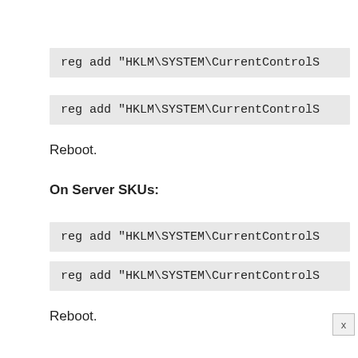reg add "HKLM\SYSTEM\CurrentControlS
reg add "HKLM\SYSTEM\CurrentControlS
Reboot.
On Server SKUs:
reg add "HKLM\SYSTEM\CurrentControlS
reg add "HKLM\SYSTEM\CurrentControlS
Reboot.